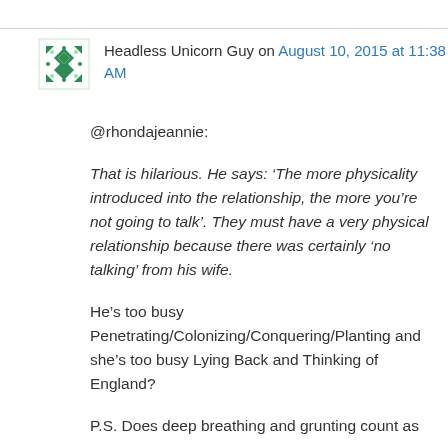Headless Unicorn Guy on August 10, 2015 at 11:38 AM
@rhondajeannie:

That is hilarious. He says: ‘The more physicality introduced into the relationship, the more you’re not going to talk’. They must have a very physical relationship because there was certainly ‘no talking’ from his wife.

He’s too busy Penetrating/Colonizing/Conquering/Planting and she’s too busy Lying Back and Thinking of England?

P.S. Does deep breathing and grunting count as